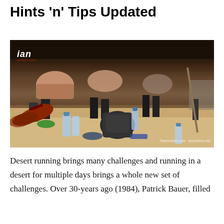Hints 'n' Tips Updated
[Figure (photo): Runners sheltering under a tent or awning in a desert setting, sitting on the ground resting during a multi-day desert race. Water bottles, backpacks, and running shoes visible. Ian logo watermark in top-left corner.]
Desert running brings many challenges and running in a desert for multiple days brings a whole new set of challenges. Over 30-years ago (1984), Patrick Bauer, filled